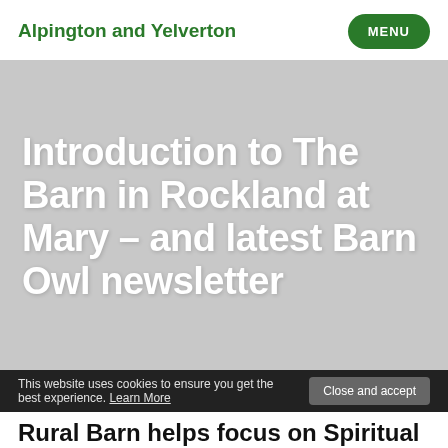Alpington and Yelverton
Introduction to The Barn in Rockland at Mary – and latest Barn Owl newsletter
This website uses cookies to ensure you get the best experience. Learn More
Close and accept
Rural Barn helps focus on Spiritual Art